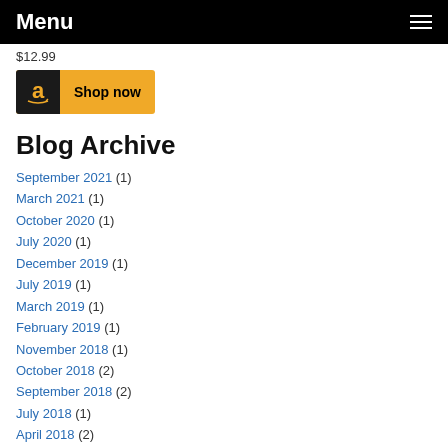Menu
$12.99
[Figure (other): Amazon 'Shop now' button with Amazon logo on dark background and golden background]
Blog Archive
September 2021 (1)
March 2021 (1)
October 2020 (1)
July 2020 (1)
December 2019 (1)
July 2019 (1)
March 2019 (1)
February 2019 (1)
November 2018 (1)
October 2018 (2)
September 2018 (2)
July 2018 (1)
April 2018 (2)